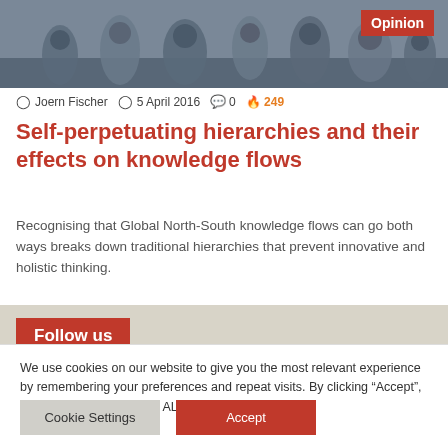[Figure (photo): Crowd of people in robes/traditional clothing, partially visible at top of page]
Joern Fischer  5 April 2016  0  249
Self-perpetuating hierarchies and their effects on knowledge flows
Recognising that Global North-South knowledge flows can go both ways breaks down traditional hierarchies that prevent innovative and holistic thinking.
Follow us
We use cookies on our website to give you the most relevant experience by remembering your preferences and repeat visits. By clicking “Accept”, you consent to the use of ALL the cookies.